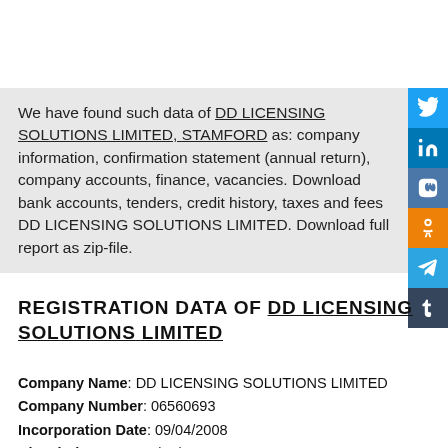We have found such data of DD LICENSING SOLUTIONS LIMITED, STAMFORD as: company information, confirmation statement (annual return), company accounts, finance, vacancies. Download bank accounts, tenders, credit history, taxes and fees DD LICENSING SOLUTIONS LIMITED. Download full report as zip-file.
REGISTRATION DATA OF DD LICENSING SOLUTIONS LIMITED
Company Name: DD LICENSING SOLUTIONS LIMITED
Company Number: 06560693
Incorporation Date: 09/04/2008
Dissolution Date: 06/07/2010
Company Category: Private Limited Company
Company Status: Dissolved